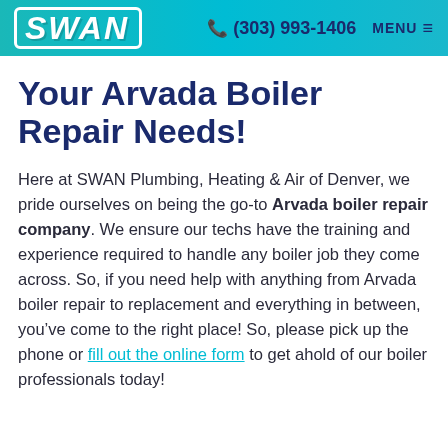SWAN | (303) 993-1406 | MENU
Your Arvada Boiler Repair Needs!
Here at SWAN Plumbing, Heating & Air of Denver, we pride ourselves on being the go-to Arvada boiler repair company. We ensure our techs have the training and experience required to handle any boiler job they come across. So, if you need help with anything from Arvada boiler repair to replacement and everything in between, you’ve come to the right place! So, please pick up the phone or fill out the online form to get ahold of our boiler professionals today!